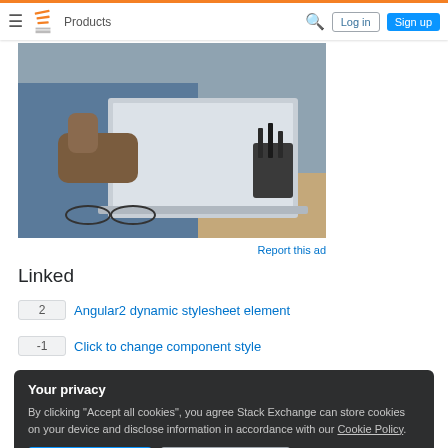≡  [Stack Overflow logo]  Products  🔍  Log in  Sign up
[Figure (photo): Person in business attire working on a laptop at a desk, with glasses and a pen holder visible]
Report this ad
Linked
2  Angular2 dynamic stylesheet element
-1  Click to change component style
Your privacy
By clicking "Accept all cookies", you agree Stack Exchange can store cookies on your device and disclose information in accordance with our Cookie Policy.
Accept all cookies   Customize settings
5238  How can I change an element's class with JavaScript?